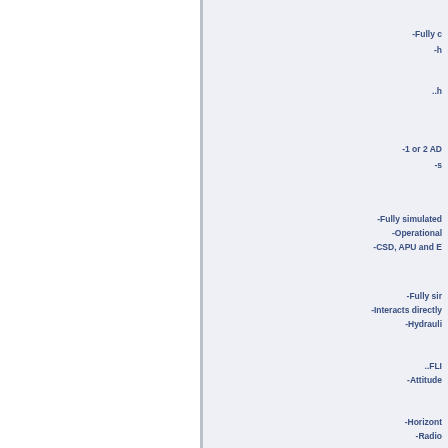-Fully c
-h
..h
-1 or 2 AD
-s
-Fully simulated
-Operational
-CSD, APU and E
-Fully sir
-Interacts directly
-Hydrauli
..FLI
-Attitude
-Horizont
-Radio
-Airs
-Ver
-Complete
-EPR RAT with manua
-Fully sim
-Pneumatic ind
-Operational and interac